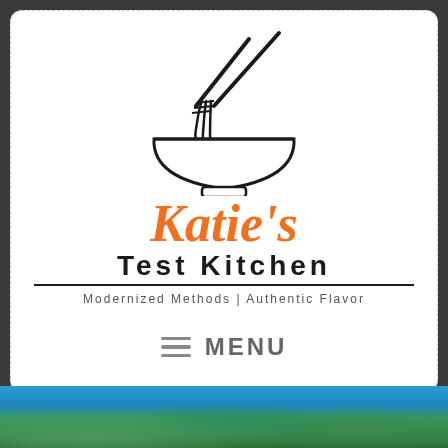[Figure (logo): Katie's Test Kitchen logo: a noodle bowl with chopsticks icon above the brand name. Text reads 'Katie's Test Kitchen — Modernized Methods | Authentic Flavor']
≡ MENU
[Figure (photo): Photo of a bowl of soup with green herbs/vegetables and broth, in a blue bowl, partially visible at the bottom of the page]